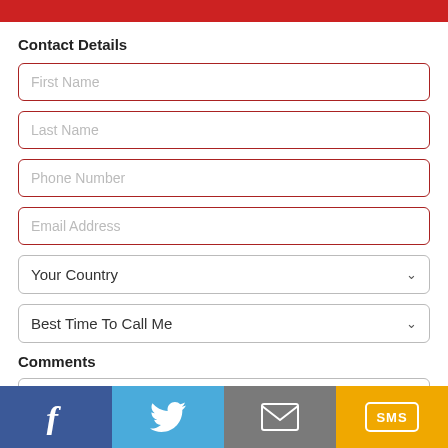Contact Details
First Name
Last Name
Phone Number
Email Address
Your Country
Best Time To Call Me
Comments
[Figure (screenshot): Social share bar with Facebook, Twitter, Email, and SMS buttons]